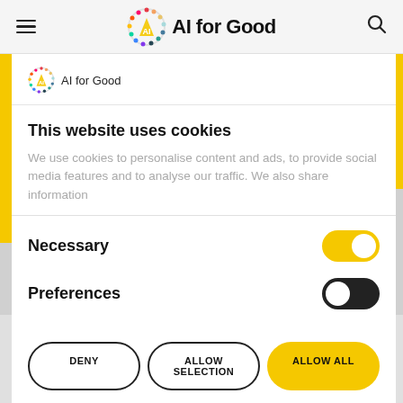AI for Good
[Figure (logo): AI for Good logo with colorful circular border and 'AI for Good' text inside modal]
This website uses cookies
We use cookies to personalise content and ads, to provide social media features and to analyse our traffic. We also share information
Necessary (toggle on)
Preferences (toggle off)
DENY | ALLOW SELECTION | ALLOW ALL